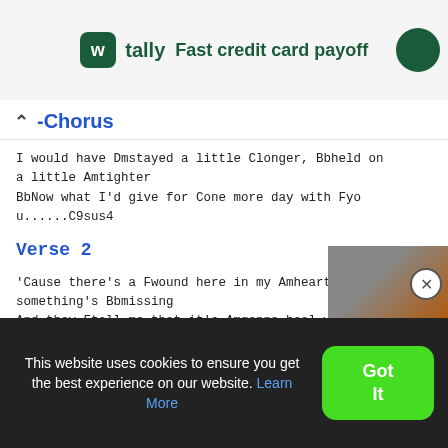[Figure (screenshot): Tally app advertisement banner with logo icon, 'tally' text, and 'Fast credit card payoff' tagline]
-Chorus
I would have Dmstayed a little Clonger, Bbheld on a little Amtighter
BbNow what I'd give for Cone more day with Fyo u......C9sus4
Verse 2
'Cause there's a Fwound here in my Amheart where something's Bbmissing
And they Ftell me that it's Amgonna heal with Bbt ime
This website uses cookies to ensure you get the best experience on our website. Learn More
Got It